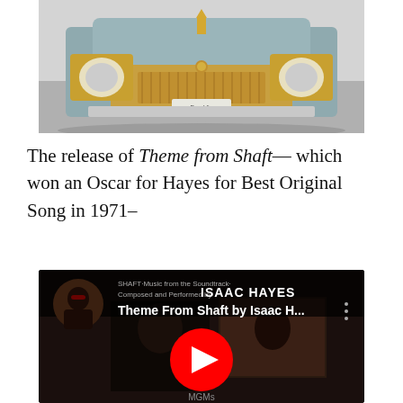[Figure (photo): Front view of a classic Cadillac car with gold trim and chrome grille, teal/silver body color, low angle shot in a museum or showroom setting]
The release of Theme from Shaft— which won an Oscar for Hayes for Best Original Song in 1971–
[Figure (screenshot): YouTube video thumbnail for 'Theme From Shaft by Isaac H...' showing Isaac Hayes album artwork, with YouTube play button overlay, text reads SHAFT Music from the Soundtrack Composed and Performed by ISAAC HAYES, MGMs visible at bottom]